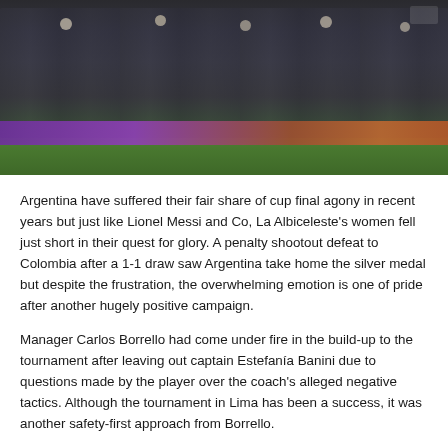[Figure (photo): Group photo of Argentina women's football team posing with silver medals on a football pitch. Players are wearing dark uniforms, kneeling and standing in rows. There is a purple/orange decorative banner in the background and green grass at the bottom.]
Argentina have suffered their fair share of cup final agony in recent years but just like Lionel Messi and Co, La Albiceleste's women fell just short in their quest for glory. A penalty shootout defeat to Colombia after a 1-1 draw saw Argentina take home the silver medal but despite the frustration, the overwhelming emotion is one of pride after another hugely positive campaign.
Manager Carlos Borrello had come under fire in the build-up to the tournament after leaving out captain Estefanía Banini due to questions made by the player over the coach's alleged negative tactics. Although the tournament in Lima has been a success, it was another safety-first approach from Borrello.